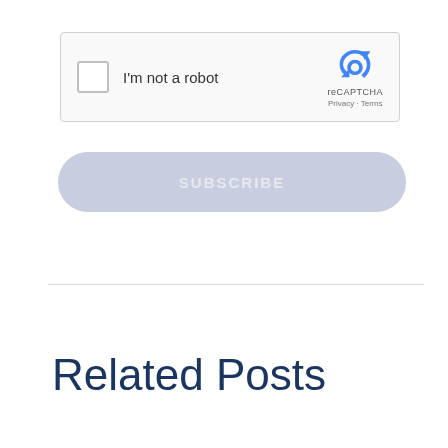[Figure (screenshot): reCAPTCHA widget with checkbox labeled 'I'm not a robot' and reCAPTCHA logo with Privacy and Terms links]
SUBSCRIBE
Related Posts